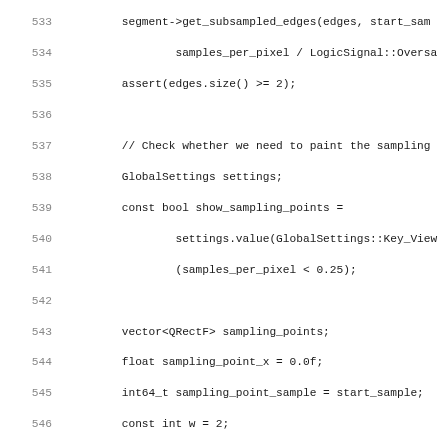Source code snippet, lines 533-564, C++ code involving sampling points, edges, and painting logic.